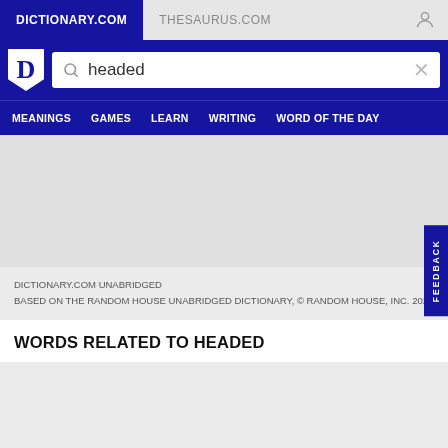DICTIONARY.COM | THESAURUS.COM
[Figure (screenshot): Dictionary.com logo with search bar showing 'headed']
MEANINGS   GAMES   LEARN   WRITING   WORD OF THE DAY
DICTIONARY.COM UNABRIDGED
BASED ON THE RANDOM HOUSE UNABRIDGED DICTIONARY, © RANDOM HOUSE, INC. 2022
WORDS RELATED TO HEADED